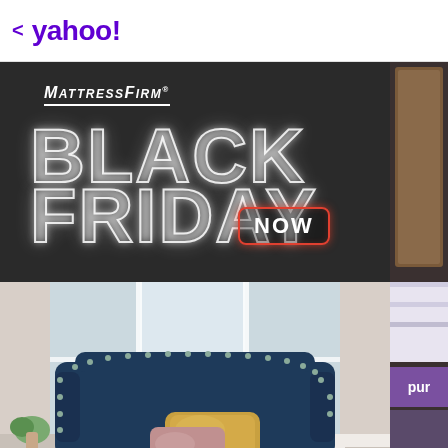< yahoo!
[Figure (photo): Mattress Firm Black Friday Now advertisement. Dark background with Mattress Firm logo at top, large glowing outlined text reading BLACK FRIDAY, a red neon-style NOW badge, and a photo of a bedroom with a navy blue upholstered bed with gold/pink pillows and a white mattress, with a pink throw blanket, plant, and window in background.]